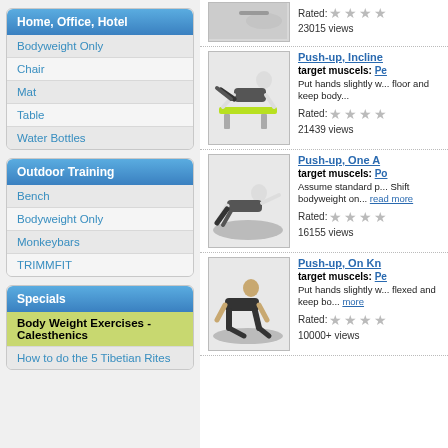Home, Office, Hotel
Bodyweight Only
Chair
Mat
Table
Water Bottles
Outdoor Training
Bench
Bodyweight Only
Monkeybars
TRIMMFIT
Specials
Body Weight Exercises - Calesthenics
How to do the 5 Tibetian Rites
[Figure (illustration): Incline push-up exercise illustration - person doing push-ups on a bench]
Rated: ★★★☆ 23015 views
Push-up, Incline
target muscels: Pe...
Put hands slightly w... floor and keep body...
Rated: ★★★☆
21439 views
[Figure (illustration): One-arm push-up exercise illustration - person doing one-arm push-up on mat]
Push-up, One A...
target muscels: Po...
Assume standard p... Shift bodyweight on... read more
Rated: ★★★☆
16155 views
[Figure (illustration): On-knees push-up exercise illustration - person doing push-up on knees]
Push-up, On Kn...
target muscels: Pe...
Put hands slightly w... flexed and keep bo... more
Rated: ★★★☆
10000+ views